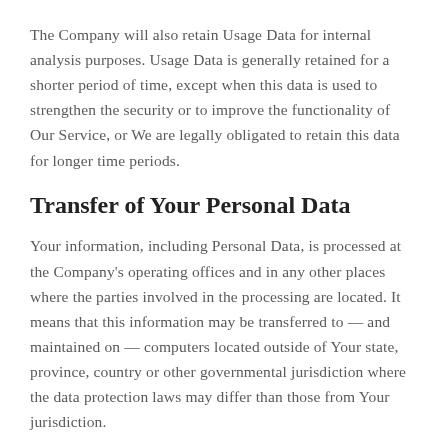The Company will also retain Usage Data for internal analysis purposes. Usage Data is generally retained for a shorter period of time, except when this data is used to strengthen the security or to improve the functionality of Our Service, or We are legally obligated to retain this data for longer time periods.
Transfer of Your Personal Data
Your information, including Personal Data, is processed at the Company's operating offices and in any other places where the parties involved in the processing are located. It means that this information may be transferred to — and maintained on — computers located outside of Your state, province, country or other governmental jurisdiction where the data protection laws may differ than those from Your jurisdiction.
Your consent to this Privacy Policy followed by Your submission of such information represents Your agreement to that transfer.